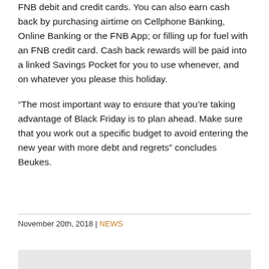FNB debit and credit cards. You can also earn cash back by purchasing airtime on Cellphone Banking, Online Banking or the FNB App; or filling up for fuel with an FNB credit card. Cash back rewards will be paid into a linked Savings Pocket for you to use whenever, and on whatever you please this holiday.
“The most important way to ensure that you’re taking advantage of Black Friday is to plan ahead. Make sure that you work out a specific budget to avoid entering the new year with more debt and regrets” concludes Beukes.
November 20th, 2018 | NEWS